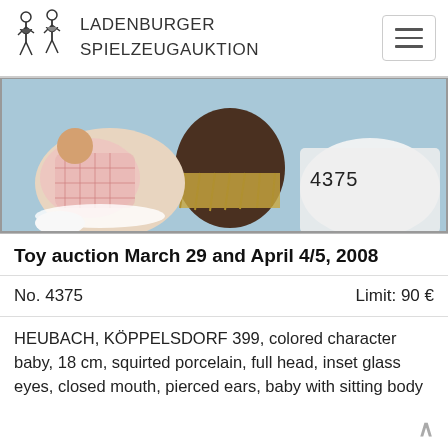LADENBURGER SPIELZEUGAUKTION
[Figure (photo): Auction lot photo showing antique dolls including a colored character baby and other dolls with straw/fringe decorations on a blue background, with lot number 4375 overlaid]
Toy auction March 29 and April 4/5, 2008
No. 4375    Limit: 90 €
HEUBACH, KÖPPELSDORF 399, colored character baby, 18 cm, squirted porcelain, full head, inset glass eyes, closed mouth, pierced ears, baby with sitting body